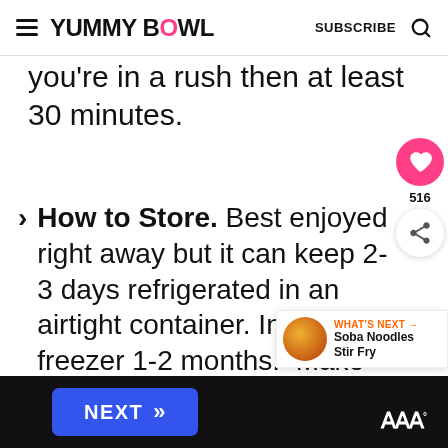YUMMY BOWL — SUBSCRIBE
you're in a rush then at least 30 minutes.
How to Store. Best enjoyed right away but it can keep 2-3 days refrigerated in an airtight container. In the freezer 1-2 months. Make-ahead by prepping the sauce and marinating the chicken a day
NEXT >>